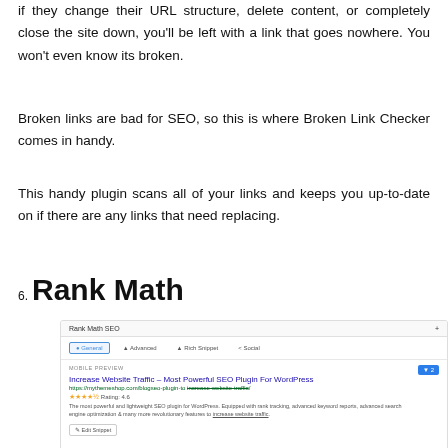if they change their URL structure, delete content, or completely close the site down, you'll be left with a link that goes nowhere. You won't even know its broken.
Broken links are bad for SEO, so this is where Broken Link Checker comes in handy.
This handy plugin scans all of your links and keeps you up-to-date on if there are any links that need replacing.
6. Rank Math
[Figure (screenshot): Screenshot of the Rank Math SEO plugin interface showing a mobile preview with SEO title, URL, star rating, and description for 'Increase Website Traffic - Most Powerful SEO Plugin For WordPress']